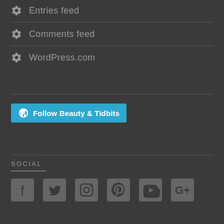Entries feed
Comments feed
WordPress.com
[Figure (other): Follow Beauty & Tidbits button with WordPress logo]
SOCIAL
[Figure (other): Social media icons: Facebook, Twitter, Instagram, Pinterest, YouTube, Google+]